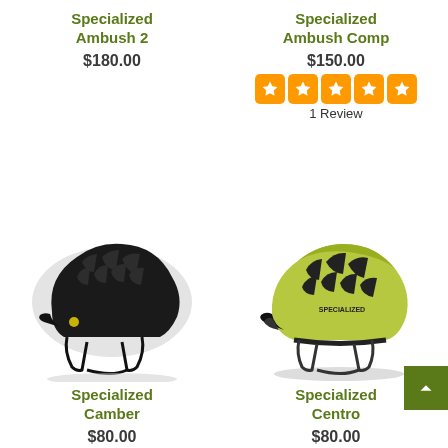Specialized Ambush 2
$180.00
Specialized Ambush Comp
$150.00
1 Review
[Figure (photo): Black Specialized Ambush mountain bike helmet with ventilation slots and chin strap]
[Figure (photo): Yellow-green Specialized Centro bike helmet with ventilation slots and visor]
Specialized Camber
$80.00
Specialized Centro
$80.00